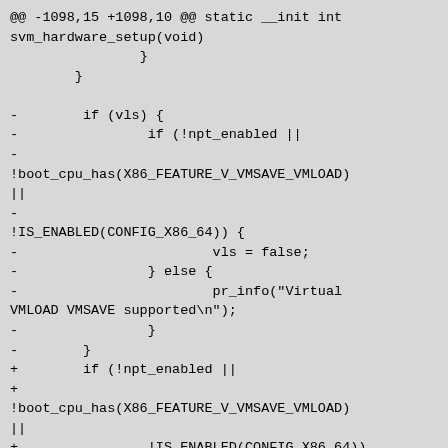@@ -1098,15 +1098,10 @@ static __init int svm_hardware_setup(void)
                }
        }

-        if (vls) {
-                if (!npt_enabled ||
-
!boot_cpu_has(X86_FEATURE_V_VMSAVE_VMLOAD)
||
-
!IS_ENABLED(CONFIG_X86_64)) {
-                        vls = false;
-                } else {
-                        pr_info("Virtual VMLOAD VMSAVE supported\n");
-                }
-        }
+        if (!npt_enabled ||
+
!boot_cpu_has(X86_FEATURE_V_VMSAVE_VMLOAD)
||
+                !IS_ENABLED(CONFIG_X86_64))
+                vls = false;